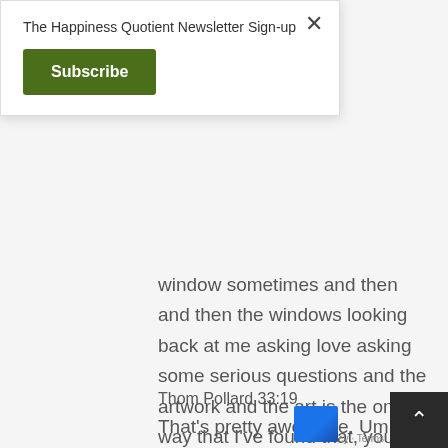The Happiness Quotient Newsletter Sign-up
Subscribe
window sometimes and then and then the windows looking back at me asking love asking some serious questions and the artwork and the art is the only way that I've found that, you know, provides me any kind of remedy for those reasons.
Thom Pollard 33:19
That's pretty awesome. Um, hey, I